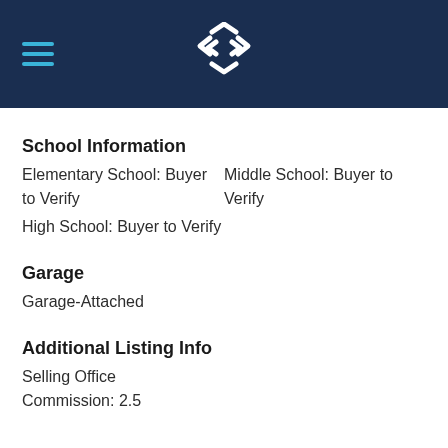Header with logo and hamburger menu
School Information
Elementary School: Buyer to Verify
Middle School: Buyer to Verify
High School: Buyer to Verify
Garage
Garage-Attached
Additional Listing Info
Selling Office Commission: 2.5